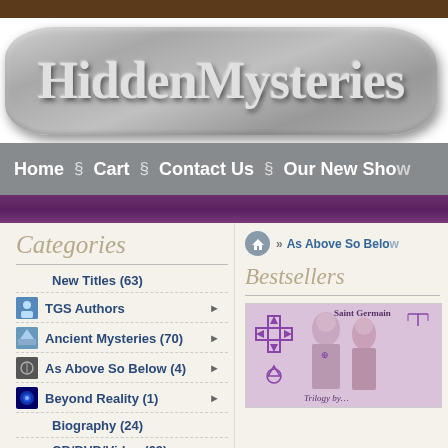HiddenMysteries
Home § Cart § Contact Us § Our New Show
[Figure (screenshot): Website screenshot of HiddenMysteries online store showing categories sidebar and bestsellers section]
Categories
New Titles (63)
TGS Authors
Ancient Mysteries (70)
As Above So Below (4)
Beyond Reality (1)
Biography (24)
CD/DVD/Video (69)
Bestsellers
» As Above So Below
Trilogy by...